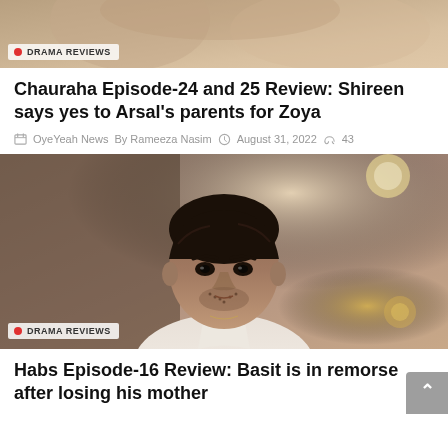[Figure (photo): Top portion of a drama scene image with a 'DRAMA REVIEWS' badge overlay at the bottom left]
Chauraha Episode-24 and 25 Review: Shireen says yes to Arsal's parents for Zoya
OyeYeah News  By Rameeza Nasim  August 31, 2022  43
[Figure (photo): A young man with dark hair wearing a white shirt, looking serious. 'DRAMA REVIEWS' badge at the bottom left.]
Habs Episode-16 Review: Basit is in remorse after losing his mother